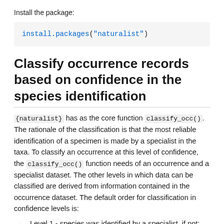Install the package:
Classify occurrence records based on confidence in the species identification
{naturalist} has as the core function classify_occ(). The rationale of the classification is that the most reliable identification of a specimen is made by a specialist in the taxa. To classify an occurrence at this level of confidence, the classify_occ() function needs of an occurrence and a specialist dataset. The other levels in which data can be classified are derived from information contained in the occurrence dataset. The default order for classification in confidence levels is:
Level 1 - species was identified by a specialist, if not;
Level 2 - who identified the species was a not specialist name, if not;
Level 3 - occurrence record has an image associated, if